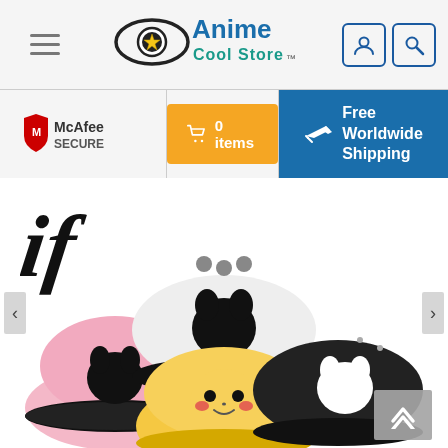[Figure (logo): Anime Cool Store logo with eye and gold star emblem, blue and black text]
[Figure (logo): McAfee SECURE badge with red shield]
0 items
Free Worldwide Shipping
[Figure (photo): Four Pokemon Pikachu snapback caps in yellow, white, pink, and black colorways displayed together]